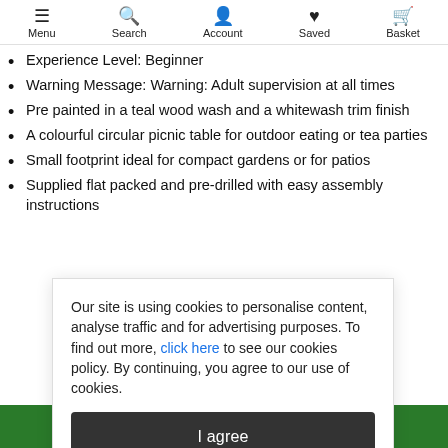Menu | Search | Account | Saved | Basket
Experience Level: Beginner
Warning Message: Warning: Adult supervision at all times
Pre painted in a teal wood wash and a whitewash trim finish
A colourful circular picnic table for outdoor eating or tea parties
Small footprint ideal for compact gardens or for patios
Supplied flat packed and pre-drilled with easy assembly instructions
Our site is using cookies to personalise content, analyse traffic and for advertising purposes. To find out more, click here to see our cookies policy. By continuing, you agree to our use of cookies.
I agree
Add to basket